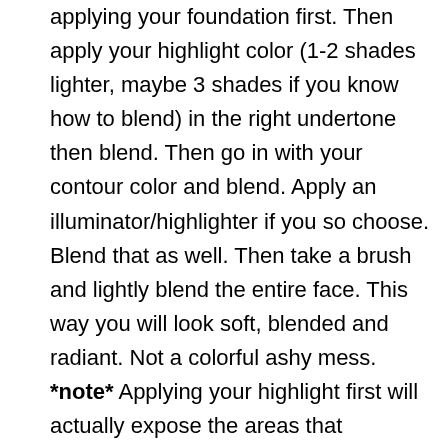applying your foundation first. Then apply your highlight color (1-2 shades lighter, maybe 3 shades if you know how to blend) in the right undertone then blend. Then go in with your contour color and blend. Apply an illuminator/highlighter if you so choose. Blend that as well. Then take a brush and lightly blend the entire face. This way you will look soft, blended and radiant. Not a colorful ashy mess. *note* Applying your highlight first will actually expose the areas that naturally recede for contour. It is also easier to blend a contour (darker color) into a highlight as opposed to the other way around.
Not Using A Moisturizer Because You Are Oily. Not using at lease an oil free (controls oil production) or mattifying (prevents appearance of oil, makes skin more matte) moisturizer is actually making you more oily. That is your skin overcompensating for the lack of